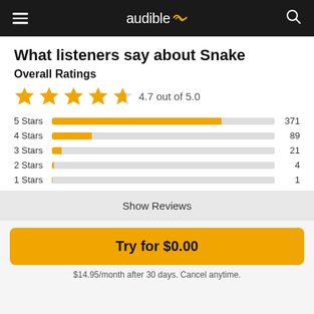audible
What listeners say about Snake
Overall Ratings
[Figure (other): 4.7 out of 5.0 star rating with 4 filled stars and 1 half star]
[Figure (bar-chart): Star ratings distribution]
Show Reviews
Try for $0.00
$14.95/month after 30 days. Cancel anytime.